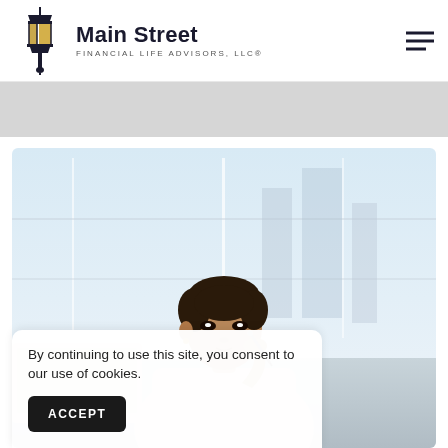Main Street FINANCIAL LIFE ADVISORS, LLC®
[Figure (photo): Professional woman sitting at desk, contemplating, holding a pen near her chin, with a laptop and bright office windows in the background]
By continuing to use this site, you consent to our use of cookies.
ACCEPT